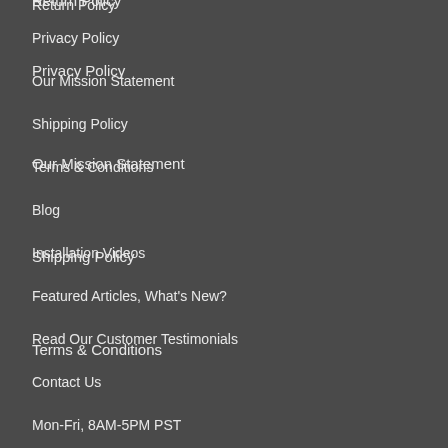Return Policy
Privacy Policy
Our Mission Statement
Shipping Policy
Terms & Conditions
Blog
Installation Videos
Featured Articles, What's New?
Read Our Customer Testimonials
Contact Us
Mon-Fri, 8AM-5PM PST
Toll Free: 866.368.8663